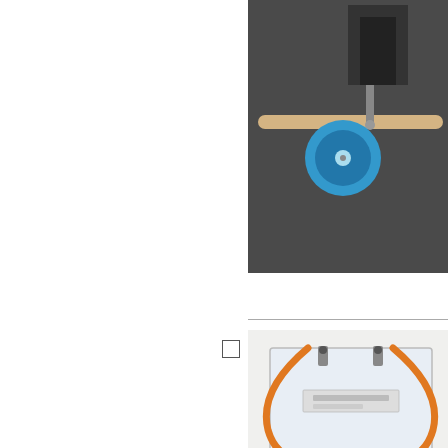[Figure (photo): A black C-clamp attached to a wooden rod with a blue disc/pulley wheel, photographed against a dark background. Science/physics lab equipment.]
Item Num
(No Revi
[Figure (photo): A transparent acrylic panel mounted on a wooden base with orange tubes/wires looping around it, resembling a physics electrostatics or circuit demonstration board.]
Essent
Item Num
(No Revi
[Figure (photo): A pendulum or balance apparatus with a vertical rod and horizontal metal arms/crossbar, with red and yellow elements, on a white background.]
21st Ce
Item Num